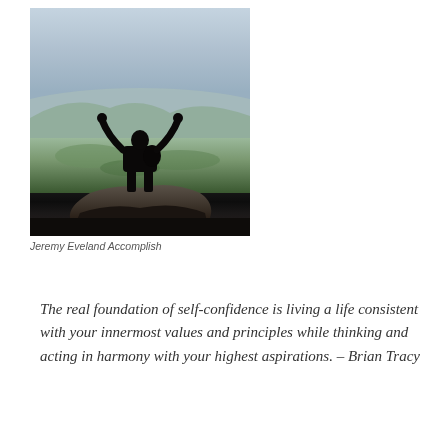[Figure (photo): A person with arms raised in triumph standing on a rocky mountain peak, silhouetted against a hazy landscape of green fields and distant mountains in the background.]
Jeremy Eveland Accomplish
The real foundation of self-confidence is living a life consistent with your innermost values and principles while thinking and acting in harmony with your highest aspirations. – Brian Tracy